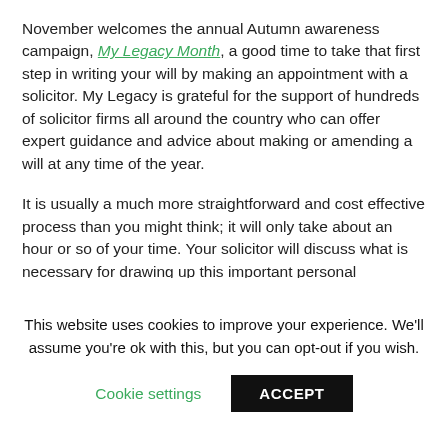November welcomes the annual Autumn awareness campaign, My Legacy Month, a good time to take that first step in writing your will by making an appointment with a solicitor. My Legacy is grateful for the support of hundreds of solicitor firms all around the country who can offer expert guidance and advice about making or amending a will at any time of the year.
It is usually a much more straightforward and cost effective process than you might think; it will only take about an hour or so of your time. Your solicitor will discuss what is necessary for drawing up this important personal document when you make your appointment.
This website uses cookies to improve your experience. We'll assume you're ok with this, but you can opt-out if you wish.
Cookie settings | ACCEPT